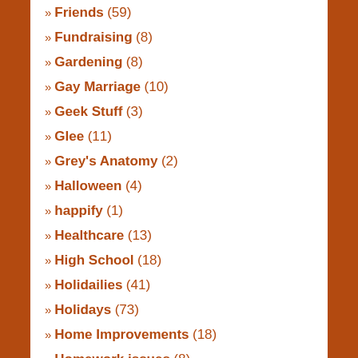» Friends (59)
» Fundraising (8)
» Gardening (8)
» Gay Marriage (10)
» Geek Stuff (3)
» Glee (11)
» Grey's Anatomy (2)
» Halloween (4)
» happify (1)
» Healthcare (13)
» High School (18)
» Holidailies (41)
» Holidays (73)
» Home Improvements (18)
» Homework issues (8)